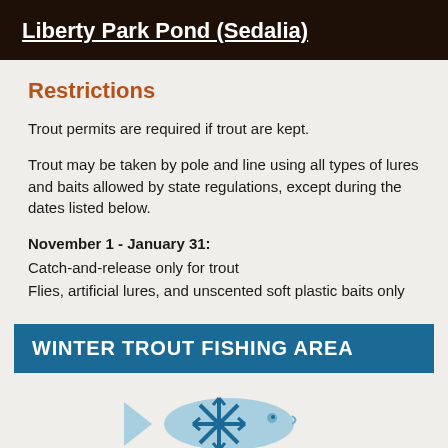Liberty Park Pond (Sedalia)
Restrictions
Trout permits are required if trout are kept.
Trout may be taken by pole and line using all types of lures and baits allowed by state regulations, except during the dates listed below.
November 1 - January 31:
Catch-and-release only for trout
Flies, artificial lures, and unscented soft plastic baits only
WINTER TROUT FISHING AREA
[Figure (illustration): Winter trout fishing area icon: a light blue fish silhouette with a blue snowflake overlaid on it]